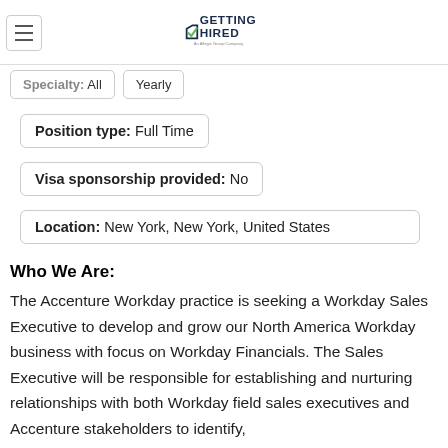Getting Hired — An Allegis Group Company
Specialty: All   Yearly
Position type: Full Time
Visa sponsorship provided: No
Location: New York, New York, United States
Who We Are:
The Accenture Workday practice is seeking a Workday Sales Executive to develop and grow our North America Workday business with focus on Workday Financials. The Sales Executive will be responsible for establishing and nurturing relationships with both Workday field sales executives and Accenture stakeholders to identify,